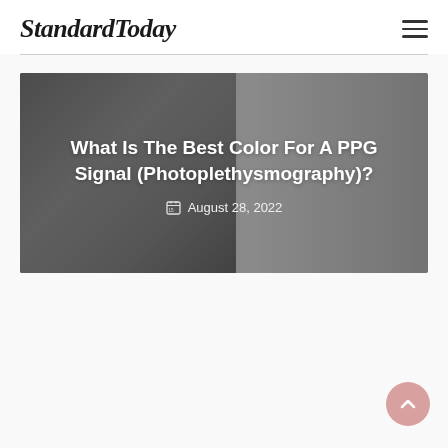StandardToday
[Figure (photo): Hero image showing two athletes (one helping the other stretch or exercise) with overlaid article title and date on a grey-toned background]
What Is The Best Color For A PPG Signal (Photoplethysmography)?
August 28, 2022